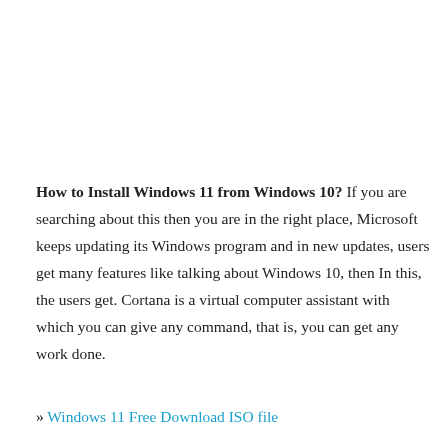How to Install Windows 11 from Windows 10? If you are searching about this then you are in the right place, Microsoft keeps updating its Windows program and in new updates, users get many features like talking about Windows 10, then In this, the users get. Cortana is a virtual computer assistant with which you can give any command, that is, you can get any work done.
» Windows 11 Free Download ISO file